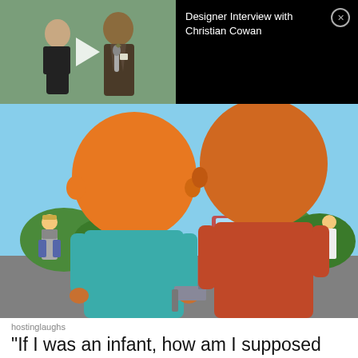[Figure (screenshot): Video thumbnail showing two people in an interview setting, one in a dark outfit and one in a suit holding a microphone, with a white play button overlay. To the right, black background with white text 'Designer Interview with Christian Cowan' and a close (X) button.]
[Figure (screenshot): Animated cartoon screenshot (appears to be from King of the Hill) showing two large-headed cartoon characters from behind, one in teal/turquoise top and one in red/orange top, with a handgun visible, and other cartoon characters and cars in background.]
hostinglaughs
"If I was an infant, how am I supposed